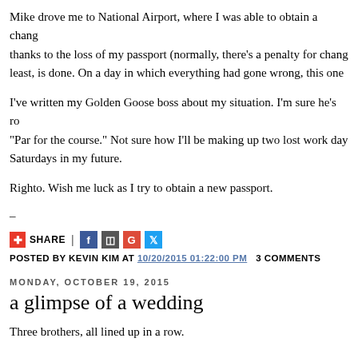Mike drove me to National Airport, where I was able to obtain a change of ticket thanks to the loss of my passport (normally, there's a penalty for changing tickets). That, at least, is done. On a day in which everything had gone wrong, this one thing went right.
I've written my Golden Goose boss about my situation. I'm sure he's rooting for me. "Par for the course." Not sure how I'll be making up two lost work days. Probably a few Saturdays in my future.
Righto. Wish me luck as I try to obtain a new passport.
–
SHARE | [social icons]
POSTED BY KEVIN KIM AT 10/20/2015 01:22:00 PM   3 COMMENTS
MONDAY, OCTOBER 19, 2015
a glimpse of a wedding
Three brothers, all lined up in a row.